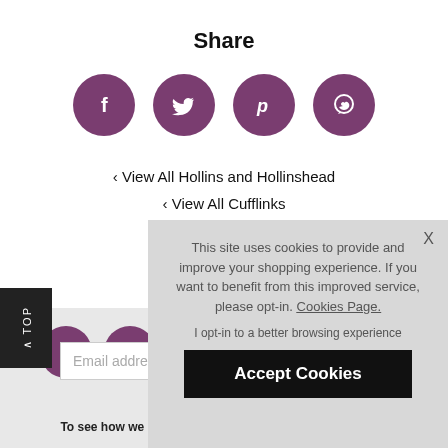Share
[Figure (infographic): Four purple circular social media icons: Facebook (f), Twitter (bird), Pinterest (P), WhatsApp (speech bubble)]
‹ View All Hollins and Hollinshead
‹ View All Cufflinks
‹ View ...
[Figure (infographic): Two purple circular social media icons in bottom area: Facebook and Twitter]
This site uses cookies to provide and improve your shopping experience. If you want to benefit from this improved service, please opt-in. Cookies Page.
I opt-in to a better browsing experience
Accept Cookies
Email address
To see how we process your data view our Privacy Policy